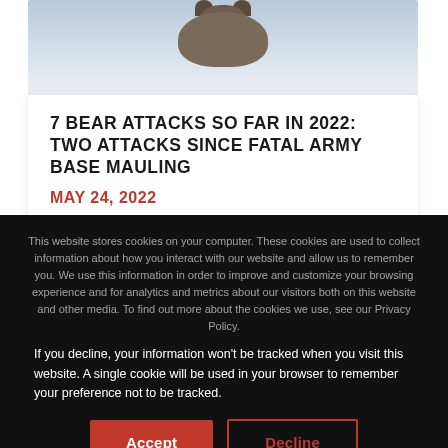[Figure (photo): Bear partially visible in snow, viewed from above/front, with snowy background]
7 BEAR ATTACKS SO FAR IN 2022: TWO ATTACKS SINCE FATAL ARMY BASE MAULING
MAY 24, 2022
This website stores cookies on your computer. These cookies are used to collect information about how you interact with our website and allow us to remember you. We use this information in order to improve and customize your browsing experience and for analytics and metrics about our visitors both on this website and other media. To find out more about the cookies we use, see our Privacy Policy.
If you decline, your information won't be tracked when you visit this website. A single cookie will be used in your browser to remember your preference not to be tracked.